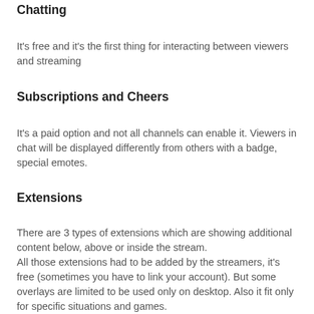Chatting
It's free and it's the first thing for interacting between viewers and streaming
Subscriptions and Cheers
It's a paid option and not all channels can enable it. Viewers in chat will be displayed differently from others with a badge, special emotes.
Extensions
There are 3 types of extensions which are showing additional content below, above or inside the stream. All those extensions had to be added by the streamers, it's free (sometimes you have to link your account). But some overlays are limited to be used only on desktop. Also it fit only for specific situations and games.